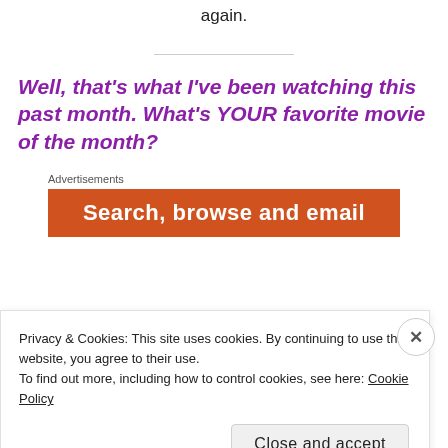again.
Well, that's what I've been watching this past month. What's YOUR favorite movie of the month?
Advertisements
[Figure (other): Orange advertisement banner with white bold text: 'Search, browse and email']
Privacy & Cookies: This site uses cookies. By continuing to use this website, you agree to their use.
To find out more, including how to control cookies, see here: Cookie Policy
Close and accept